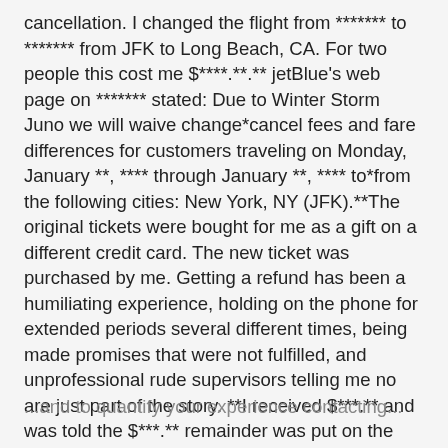cancellation. I changed the flight from ******* to ******* from JFK to Long Beach, CA. For two people this cost me $****.**.** jetBlue's web page on ******* stated: Due to Winter Storm Juno we will waive change*cancel fees and fare differences for customers traveling on Monday, January **, **** through January **, **** to*from the following cities: New York, NY (JFK).**The original tickets were bought for me as a gift on a different credit card. The new ticket was purchased by me. Getting a refund has been a humiliating experience, holding on the phone for extended periods several different times, being made promises that were not fulfilled, and unprofessional rude supervisors telling me no are just part of the story. **I received $***.** and was told the $***.** remainder was put on the original ticket buyer's credit card. I do not want to ask the gift giver to give me back the money. The
...and to quantify your experience contacting...